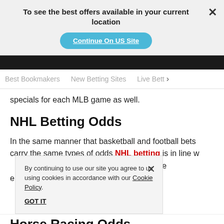To see the best offers available in your current location
Continue On US Site
Best Bookmakers   New Betting Sites   Live Bett >
specials for each MLB game as well.
NHL Betting Odds
In the same manner that basketball and football bets carry the same types of odds NHL betting is in line w... run line e...
By continuing to use our site you agree to us using cookies in accordance with our Cookie Policy.
GOT IT
Horse Racing Odds